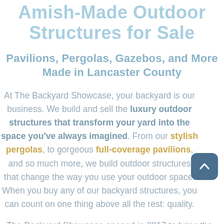Amish-Made Outdoor Structures for Sale
Pavilions, Pergolas, Gazebos, and More Made in Lancaster County
At The Backyard Showcase, your backyard is our business. We build and sell the luxury outdoor structures that transform your yard into the space you've always imagined. From our stylish pergolas, to gorgeous full-coverage pavilions, and so much more, we build outdoor structures that change the way you use your outdoor space. When you buy any of our backyard structures, you can count on one thing above all the rest: quality.
The Backyard Showcase opened in 2017 to bring the